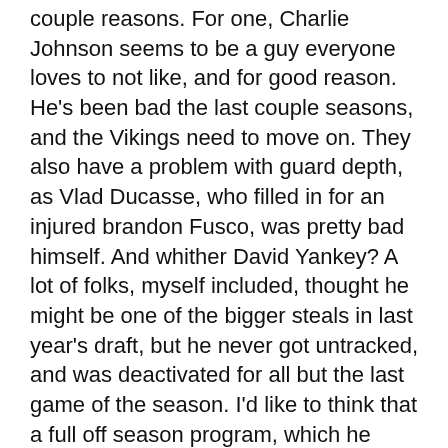couple reasons. For one, Charlie Johnson seems to be a guy everyone loves to not like, and for good reason. He's been bad the last couple seasons, and the Vikings need to move on. They also have a problem with guard depth, as Vlad Ducasse, who filled in for an injured brandon Fusco, was pretty bad himself. And whither David Yankey? A lot of folks, myself included, thought he might be one of the bigger steals in last year's draft, but he never got untracked, and was deactivated for all but the last game of the season. I'd like to think that a full off season program, which he missed last year after he was drafted due to NCAA rules, might make him ready to take over. But if he isn't, the Vikings would find themselves in a quandary, so it seems to me they'll look to improve this position, probably both in free agency and the draft. Priority: Very High